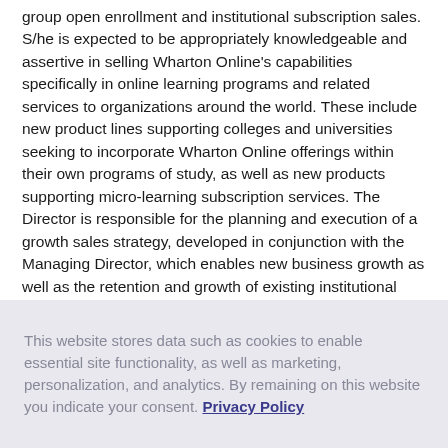group open enrollment and institutional subscription sales. S/he is expected to be appropriately knowledgeable and assertive in selling Wharton Online's capabilities specifically in online learning programs and related services to organizations around the world. These include new product lines supporting colleges and universities seeking to incorporate Wharton Online offerings within their own programs of study, as well as new products supporting micro-learning subscription services. The Director is responsible for the planning and execution of a growth sales strategy, developed in conjunction with the Managing Director, which enables new business growth as well as the retention and growth of existing institutional clients. This is expected to include: identification of new target segments that align with Wharton's value
This website stores data such as cookies to enable essential site functionality, as well as marketing, personalization, and analytics. By remaining on this website you indicate your consent. Privacy Policy